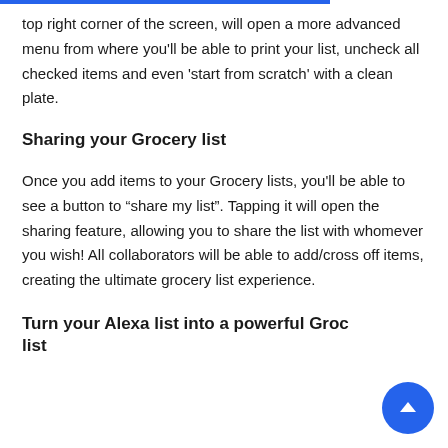top right corner of the screen, will open a more advanced menu from where you'll be able to print your list, uncheck all checked items and even 'start from scratch' with a clean plate.
Sharing your Grocery list
Once you add items to your Grocery lists, you'll be able to see a button to “share my list”. Tapping it will open the sharing feature, allowing you to share the list with whomever you wish! All collaborators will be able to add/cross off items, creating the ultimate grocery list experience.
Turn your Alexa list into a powerful Grocery list